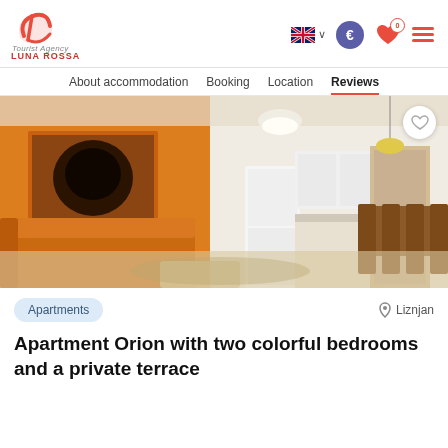Luna Rossa Tourist Agency — navigation header with language, currency, wishlist, and menu icons
About accommodation   Booking   Location   Reviews
[Figure (photo): Interior photo of an apartment showing an orange sofa, orange accent wall with a painting, white kitchen cabinets, refrigerator, and a dining table with chairs in the background. Warm lighting from a pendant lamp.]
Apartments
Liznjan
Apartment Orion with two colorful bedrooms and a private terrace